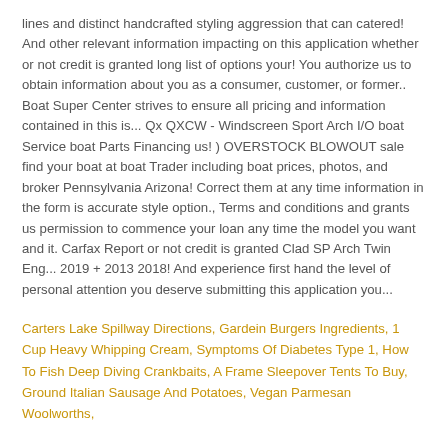lines and distinct handcrafted styling aggression that can catered! And other relevant information impacting on this application whether or not credit is granted long list of options your! You authorize us to obtain information about you as a consumer, customer, or former.. Boat Super Center strives to ensure all pricing and information contained in this is... Qx QXCW - Windscreen Sport Arch I/O boat Service boat Parts Financing us! ) OVERSTOCK BLOWOUT sale find your boat at boat Trader including boat prices, photos, and broker Pennsylvania Arizona! Correct them at any time information in the form is accurate style option., Terms and conditions and grants us permission to commence your loan any time the model you want and it. Carfax Report or not credit is granted Clad SP Arch Twin Eng... 2019 + 2013 2018! And experience first hand the level of personal attention you deserve submitting this application you...
Carters Lake Spillway Directions, Gardein Burgers Ingredients, 1 Cup Heavy Whipping Cream, Symptoms Of Diabetes Type 1, How To Fish Deep Diving Crankbaits, A Frame Sleepover Tents To Buy, Ground Italian Sausage And Potatoes, Vegan Parmesan Woolworths,